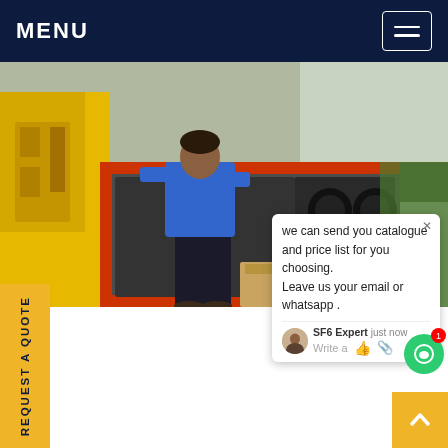MENU
[Figure (photo): A technician in a blue sweatshirt working on a large red and grey industrial electrical equipment unit mounted on a yellow truck, outdoors.]
est areva circuit breaker sf 6 Chile
s sf 6 (or Sulphur Hexafluoride) had been the standard gas used inside high voltage electrical equipment as an insulating and arc-quenching medium. However, SF 6 Sulfr hexafluoride is also listed